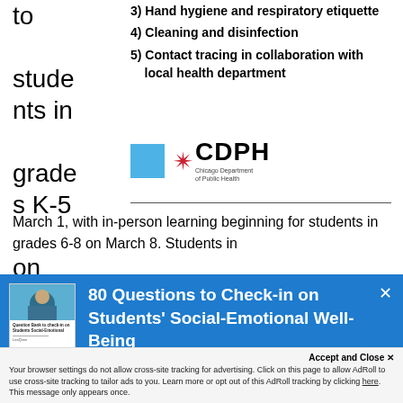to students in grades K-5 on
3) Hand hygiene and respiratory etiquette
4) Cleaning and disinfection
5) Contact tracing in collaboration with local health department
[Figure (logo): CDPH - Chicago Department of Public Health logo with blue rectangle and red star]
March 1, with in-person learning beginning for students in grades 6-8 on March 8. Students in
[Figure (infographic): Blue popup advertisement showing book cover and text: 80 Questions to Check-in on Students' Social-Emotional Well-Being. Run weekly SEL check-ins with students.]
Accept and Close ×
Your browser settings do not allow cross-site tracking for advertising. Click on this page to allow AdRoll to use cross-site tracking to tailor ads to you. Learn more or opt out of this AdRoll tracking by clicking here. This message only appears once.